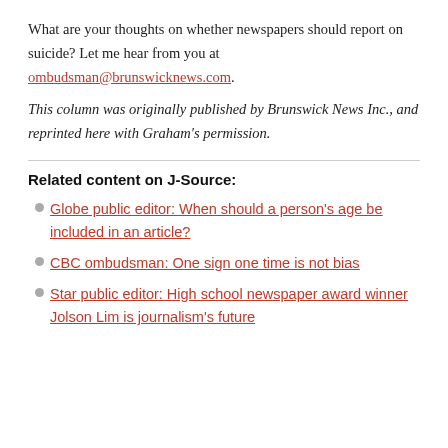What are your thoughts on whether newspapers should report on suicide? Let me hear from you at ombudsman@brunswicknews.com.
This column was originally published by Brunswick News Inc., and reprinted here with Graham's permission.
Related content on J-Source:
Globe public editor: When should a person's age be included in an article?
CBC ombudsman: One sign one time is not bias
Star public editor: High school newspaper award winner Jolson Lim is journalism's future